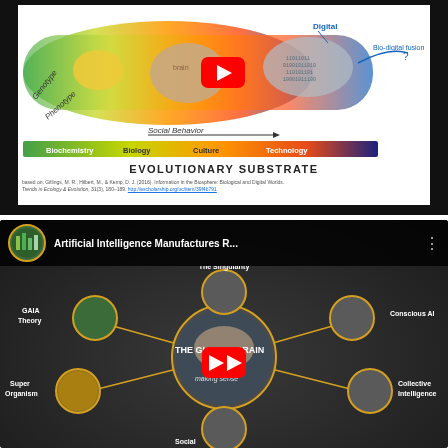[Figure (infographic): Evolutionary substrate diagram showing a spectrum from Biochemistry (green) through Biology (yellow), Culture (orange) to Technology (blue), with overlaid brain, DNA, and digital cloud imagery. Shows Genotype and Phenotype labels, Social Behavior arrow, and Bio-digital fusion question. YouTube play button overlay.]
EVOLUTIONARY SUBSTRATE
based on: Gillings, M. R., Hilbert, M., & Kemp, D. J. (2016). Information in the Biosphere: Biological and Digital Worlds. Trends in Ecology & Evolution, 31(3), 180–189. http://escholarship.org/uc/item/39f4b791
[Figure (infographic): YouTube video thumbnail for 'Artificial Intelligence Manufactures R...' showing The Global Brain concept with circular nodes: The Singularity, Conscious AI, Collective Intelligence, Social [organism], Super Organism, GAIA Theory — connected around a central brain globe image. YouTube play button overlay.]